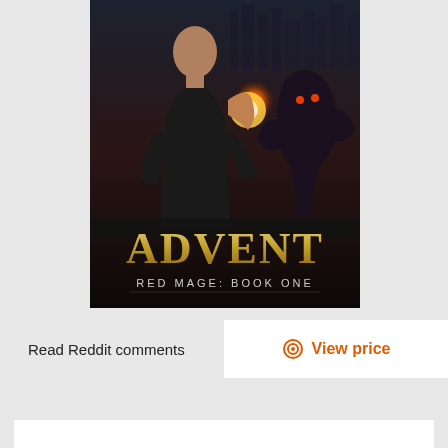[Figure (illustration): Book cover for 'Advent: Red Mage Book One' showing a man from behind holding a glowing orb of fire, facing a dark creature, with a city skyline in the background. Large gold serif text reads 'ADVENT' and subtitle 'RED MAGE: BOOK ONE'.]
Read Reddit comments
View price